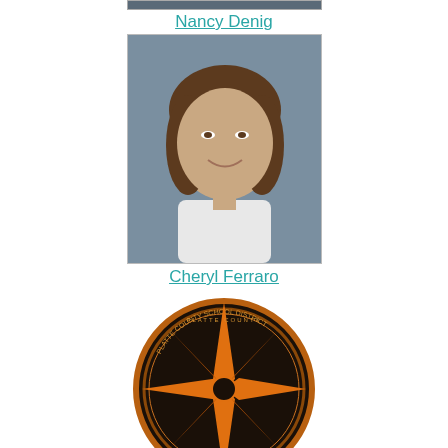[Figure (photo): Partial photo at top of page (cropped)]
Nancy Denig
[Figure (photo): Photo of Nancy Denig, a woman with brown hair, smiling, wearing a white top, school portrait style]
Cheryl Ferraro
[Figure (logo): Platte County School District compass logo — orange star compass rose on dark circular badge with text 'PLATTE COUNTY SCHOOL DISTRICT']
Madelyn Pinney
[Figure (photo): Photo of Madelyn Pinney, a young woman with long brown hair, smiling, wearing a dark top, school portrait style]
Ashley Schultz
[Figure (logo): Platte County School District compass logo — partial view at bottom of page]